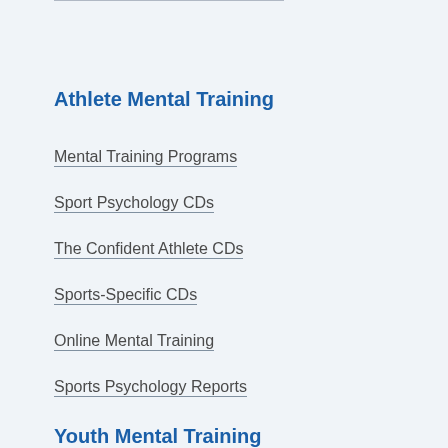Athlete Mental Training
Mental Training Programs
Sport Psychology CDs
The Confident Athlete CDs
Sports-Specific CDs
Online Mental Training
Sports Psychology Reports
Youth Mental Training